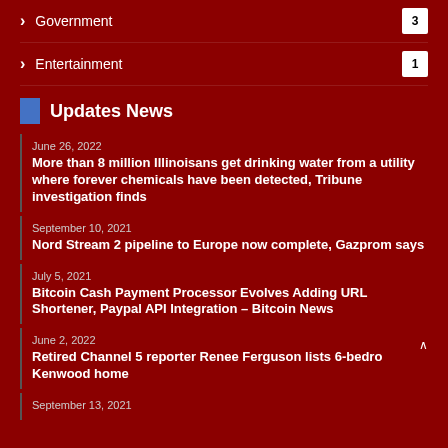Government 3
Entertainment 1
Updates News
June 26, 2022
More than 8 million Illinoisans get drinking water from a utility where forever chemicals have been detected, Tribune investigation finds
September 10, 2021
Nord Stream 2 pipeline to Europe now complete, Gazprom says
July 5, 2021
Bitcoin Cash Payment Processor Evolves Adding URL Shortener, Paypal API Integration – Bitcoin News
June 2, 2022
Retired Channel 5 reporter Renee Ferguson lists 6-bedro Kenwood home
September 13, 2021